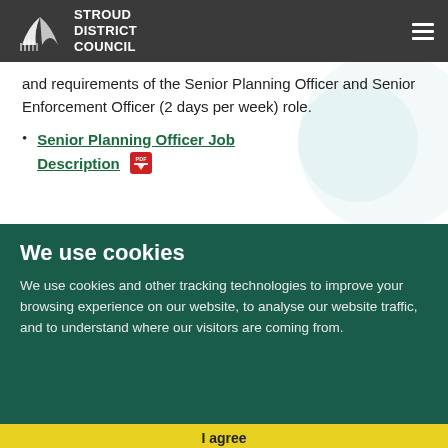Stroud District Council
and requirements of the Senior Planning Officer and Senior Enforcement Officer (2 days per week) role.
Senior Planning Officer Job Description [PDF icon]
We use cookies
We use cookies and other tracking technologies to improve your browsing experience on our website, to analyse our website traffic, and to understand where our visitors are coming from.
I agree